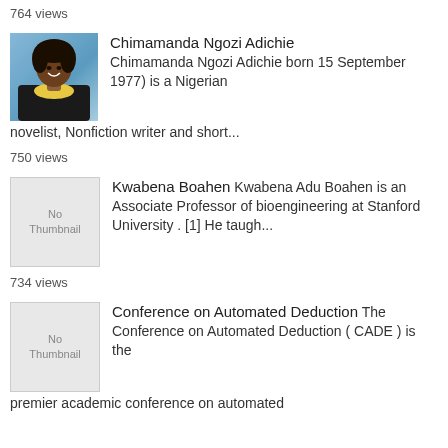764 views
[Figure (photo): Photo of Chimamanda Ngozi Adichie, a woman smiling, wearing a yellow scarf and dark top]
Chimamanda Ngozi Adichie Chimamanda Ngozi Adichie born 15 September 1977) is a Nigerian novelist, Nonfiction writer and short...
750 views
[Figure (photo): No Thumbnail placeholder image]
Kwabena Boahen Kwabena Adu Boahen is an Associate Professor of bioengineering at Stanford University . [1] He taugh...
734 views
[Figure (photo): No Thumbnail placeholder image]
Conference on Automated Deduction The Conference on Automated Deduction ( CADE ) is the premier academic conference on automated